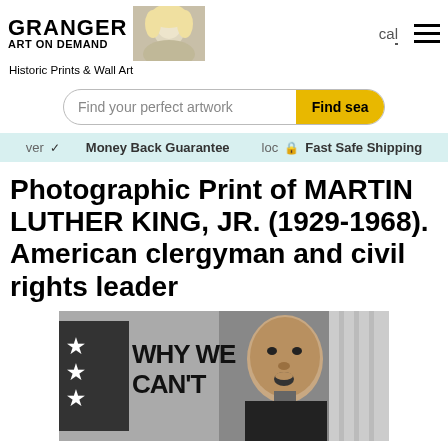GRANGER ART ON DEMAND
Historic Prints & Wall Art
Find your perfect artwork
Money Back Guarantee  Fast Safe Shipping
Photographic Print of MARTIN LUTHER KING, JR. (1929-1968). American clergyman and civil rights leader
[Figure (photo): Black and white photograph of Martin Luther King Jr. speaking, with a 'WHY WE CAN'T' book/sign visible in the background]